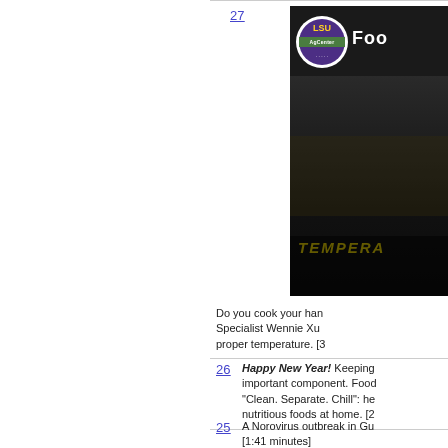27
[Figure (screenshot): LSU AgCenter Food video thumbnail showing 'TEMPERA...' text overlay on dark background with cooking imagery]
Do you cook your han... Specialist Wennie Xu... proper temperature. [3...
26
Happy New Year! Keeping important component. Food... "Clean. Separate. Chill": he... nutritious foods at home. [2...
25
A Norovirus outbreak in Gu... [1:41 minutes]